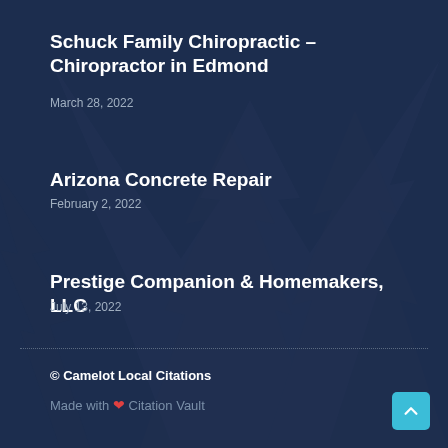[Figure (illustration): Dark navy blue background with fir/pine tree silhouettes in slightly lighter navy blue tones]
Schuck Family Chiropractic – Chiropractor in Edmond
March 28, 2022
Arizona Concrete Repair
February 2, 2022
Prestige Companion & Homemakers, LLC
July 13, 2022
© Camelot Local Citations
Made with ❤ Citation Vault